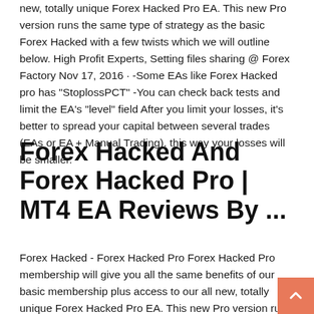new, totally unique Forex Hacked Pro EA. This new Pro version runs the same type of strategy as the basic Forex Hacked with a few twists which we will outline below. High Profit Experts, Setting files sharing @ Forex Factory Nov 17, 2016 · -Some EAs like Forex Hacked pro has "StoplossPCT" -You can check back tests and limit the EA's "level" field After you limit your losses, it's better to spread your capital between several trades (EAs or EA + Manual Trading). this way your losses will be smaller.
Forex Hacked And Forex Hacked Pro | MT4 EA Reviews By ...
Forex Hacked - Forex Hacked Pro Forex Hacked Pro membership will give you all the same benefits of our basic membership plus access to our all new, totally unique Forex Hacked Pro EA. This new Pro version runs the same type of strategy as the basic Forex Hacked with a few twists which we